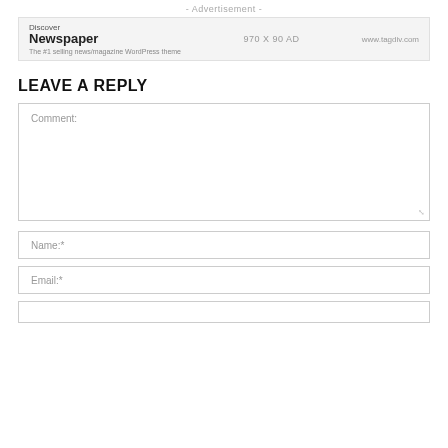- Advertisement -
[Figure (other): Advertisement banner: Discover Newspaper - The #1 selling news/magazine WordPress theme | 970 X 90 AD | www.tagdiv.com]
LEAVE A REPLY
Comment:
Name:*
Email:*